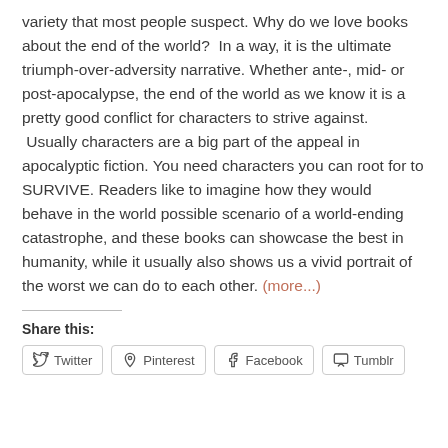variety that most people suspect. Why do we love books about the end of the world?  In a way, it is the ultimate triumph-over-adversity narrative. Whether ante-, mid- or post-apocalypse, the end of the world as we know it is a pretty good conflict for characters to strive against.  Usually characters are a big part of the appeal in apocalyptic fiction. You need characters you can root for to SURVIVE. Readers like to imagine how they would behave in the world possible scenario of a world-ending catastrophe, and these books can showcase the best in humanity, while it usually also shows us a vivid portrait of the worst we can do to each other. (more...)
Share this:
Twitter
Pinterest
Facebook
Tumblr